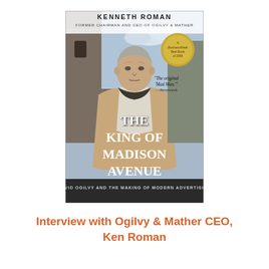[Figure (illustration): Book cover of 'The King of Madison Avenue' by Kenneth Roman, Former Chairman and CEO of Ogilvy & Mather. Shows an older man in a tan jacket standing before a castle. Includes a gold seal reading 'A BusinessWeek Best Book of 2009' and a quote: 'The original Mad Man.' —Newsweek. Subtitle: David Ogilvy and the Making of Modern Advertising.]
Interview with Ogilvy & Mather CEO, Ken Roman